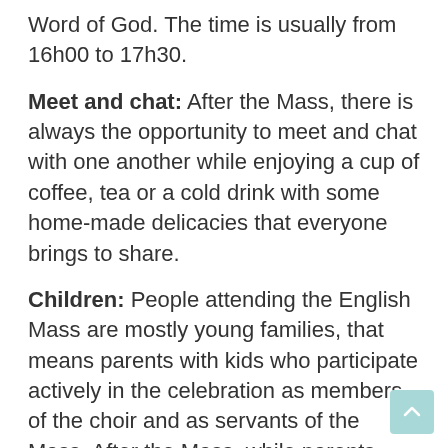Word of God. The time is usually from 16h00 to 17h30.
Meet and chat: After the Mass, there is always the opportunity to meet and chat with one another while enjoying a cup of coffee, tea or a cold drink with some home-made delicacies that everyone brings to share.
Children: People attending the English Mass are mostly young families, that means parents with kids who participate actively in the celebration as members of the choir and as servants of the Mass. After the Mass, while parents attend the Bible Study, kids are taken good care of with group activities.
Missionary Parish
What we wish to achieve with the English-language Mass is to help our Parish The Twaalf Apostelen to engage in the process of becoming a true missionary Parish, that offers to our foreigner brothers and sisters a real context where they can nurture and